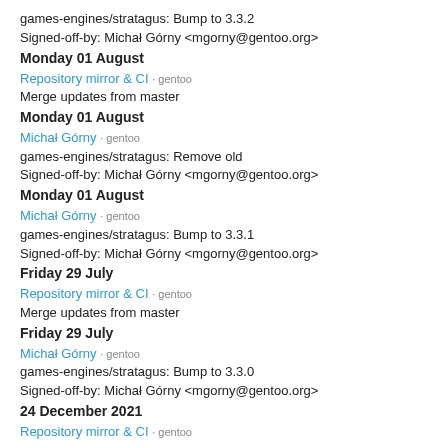games-engines/stratagus: Bump to 3.3.2
Signed-off-by: Michał Górny <mgorny@gentoo.org>
Monday 01 August
Repository mirror & CI · gentoo
Merge updates from master
Monday 01 August
Michał Górny · gentoo
games-engines/stratagus: Remove old
Signed-off-by: Michał Górny <mgorny@gentoo.org>
Monday 01 August
Michał Górny · gentoo
games-engines/stratagus: Bump to 3.3.1
Signed-off-by: Michał Górny <mgorny@gentoo.org>
Friday 29 July
Repository mirror & CI · gentoo
Merge updates from master
Friday 29 July
Michał Górny · gentoo
games-engines/stratagus: Bump to 3.3.0
Signed-off-by: Michał Górny <mgorny@gentoo.org>
24 December 2021
Repository mirror & CI · gentoo